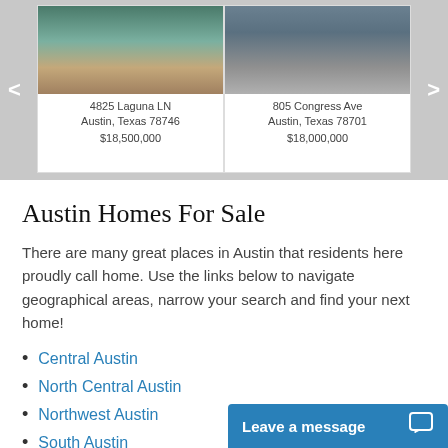[Figure (screenshot): Real estate property carousel showing two listings: 4825 Laguna LN, Austin, Texas 78746 at $18,500,000 and 805 Congress Ave, Austin, Texas 78701 at $18,000,000, with left/right navigation arrows on a gray background.]
Austin Homes For Sale
There are many great places in Austin that residents here proudly call home. Use the links below to navigate geographical areas, narrow your search and find your next home!
Central Austin
North Central Austin
Northwest Austin
South Austin
Southeast Austin